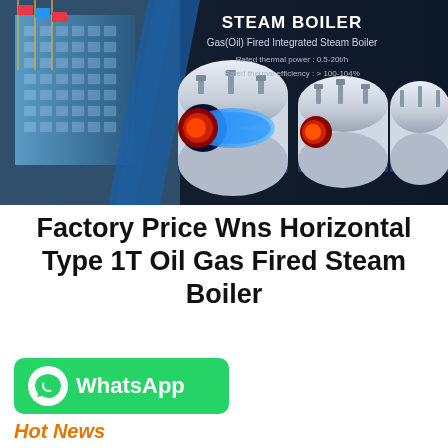[Figure (photo): Dark navy banner showing steam boilers (horizontal cylindrical industrial boilers) on the right and a modern building with flagpoles on the left. Text overlay reads STEAM BOILER, Gas(Oil) Fired Integrated Steam Boiler, with rated thermal specs.]
Factory Price Wns Horizontal Type 1T Oil Gas Fired Steam Boiler
[Figure (logo): Green WhatsApp button with phone icon and text WhatsApp]
Hot News